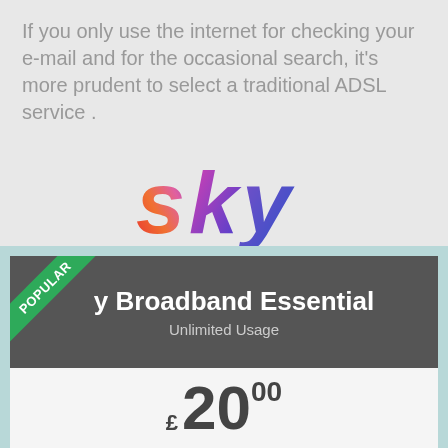If you only use the internet for checking your e-mail and for the occasional search, it's more prudent to select a traditional ADSL service .
[Figure (logo): Sky logo with gradient coloring from red/orange to purple/blue]
[Figure (infographic): Sky Broadband Essential product card with 'POPULAR' badge, showing Unlimited Usage and price of £20.00]